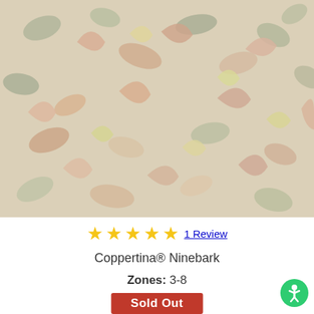[Figure (photo): Close-up photo of Coppertina Ninebark plant foliage showing dense copper-colored and green leaves with a washed-out/faded appearance due to strong sunlight.]
★★★★★ 1 Review
Coppertina® Ninebark
Zones: 3-8
Sold Out